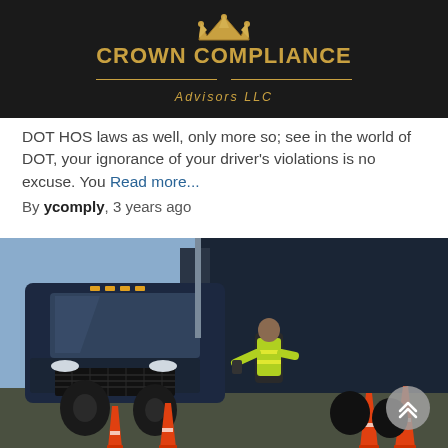[Figure (logo): Crown Compliance Advisors LLC logo with gold crown icon and text on black background]
DOT HOS laws as well, only more so; see in the world of DOT, your ignorance of your driver's violations is no excuse. You Read more...
By ycomply, 3 years ago
[Figure (photo): A dark blue semi-truck at what appears to be a DOT inspection checkpoint, with an inspector in a neon yellow vest standing near orange traffic cones in front of the truck.]